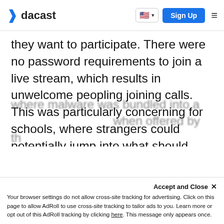dacast | Sign Up
they want to participate. There were no password requirements to join a live stream, which results in unwelcome peopling joining calls. This was particularly concerning for schools, where strangers could potentially jump into what should have been private classroom calls.
Malware Issues
Zoom also experienced malware issues, where malware was bundled into a... when offered by th...
Accept and Close ×
Your browser settings do not allow cross-site tracking for advertising. Click on this page to allow AdRoll to use cross-site tracking to tailor ads to you. Learn more or opt out of this AdRoll tracking by clicking here. This message only appears once.